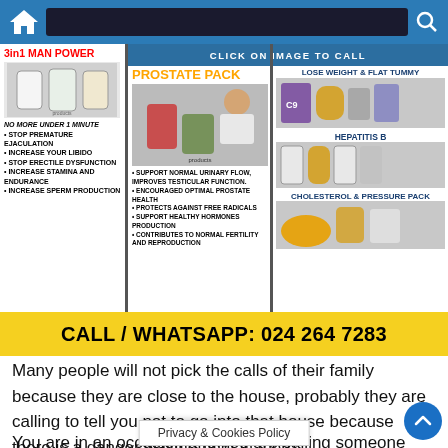[Figure (screenshot): Navigation bar with home icon and search icon on blue background]
[Figure (infographic): Advertisement banner with three columns: 3in1 Man Power, Prostate Pack, and right column with Lose Weight & Flat Tummy, Hepatitis B, Cholesterol & Pressure Pack. Header says CLICK ON IMAGE TO CALL]
CALL / WHATSAPP: 024 264 7283
Many people will not pick the calls of their family because they are close to the house, probably they are calling to tell you not to go into that house because there is a danger waiting right in there.
You are in an occasion and you are calling someone you are looking at because you need some information,
Privacy & Cookies Policy